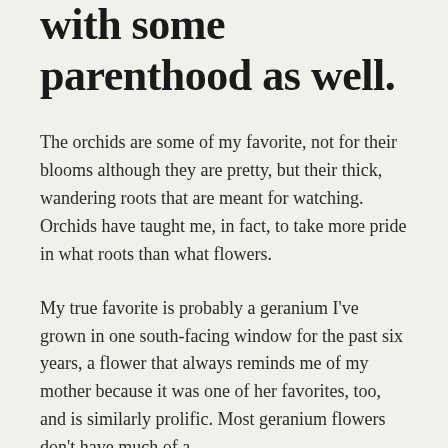with some parenthood as well.
The orchids are some of my favorite, not for their blooms although they are pretty, but their thick, wandering roots that are meant for watching. Orchids have taught me, in fact, to take more pride in what roots than what flowers.
My true favorite is probably a geranium I've grown in one south-facing window for the past six years, a flower that always reminds me of my mother because it was one of her favorites, too, and is similarly prolific. Most geranium flowers don't have much of a